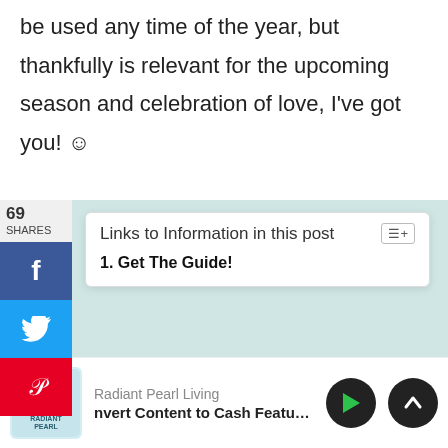be used any time of the year, but thankfully is relevant for the upcoming season and celebration of love, I've got you! ☺
69 SHARES
Links to Information in this post
1. Get The Guide!
Get The Guide!
Do you struggle with ESTABLISHING &
KEEPING...
Radiant Pearl Living
nvert Content to Cash Featuring Sha